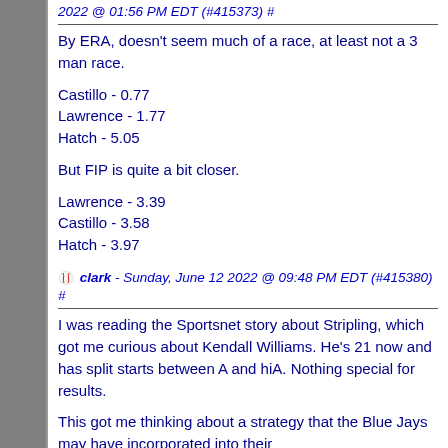2022 @ 01:56 PM EDT (#415373) #
By ERA, doesn't seem much of a race, at least not a 3 man race.

Castillo - 0.77
Lawrence - 1.77
Hatch - 5.05

But FIP is quite a bit closer.

Lawrence - 3.39
Castillo - 3.58
Hatch - 3.97
clark - Sunday, June 12 2022 @ 09:48 PM EDT (#415380) #
I was reading the Sportsnet story about Stripling, which got me curious about Kendall Williams. He's 21 now and has split starts between A and hiA. Nothing special for results.

This got me thinking about a strategy that the Blue Jays may have incorporated into their